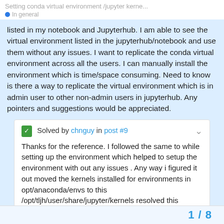Setting conda virtual environment /jupyter kerne...
listed in my notebook and Jupyterhub. I am able to see the virtual environment listed in the jupyterhub/notebook and use them without any issues. I want to replicate the conda virtual environment across all the users. I can manually install the environment which is time/space consuming. Need to know is there a way to replicate the virtual environment which is in admin user to other non-admin users in jupyterhub. Any pointers and suggestions would be appreciated.
Solved by chnguy in post #9
Thanks for the reference. I followed the same to while setting up the environment which helped to setup the environment with out any issues . Any way i figured it out moved the kernels installed for environments in opt/anaconda/envs to this /opt/tljh/user/share/jupyter/kernels resolved this issue…
1 / 8